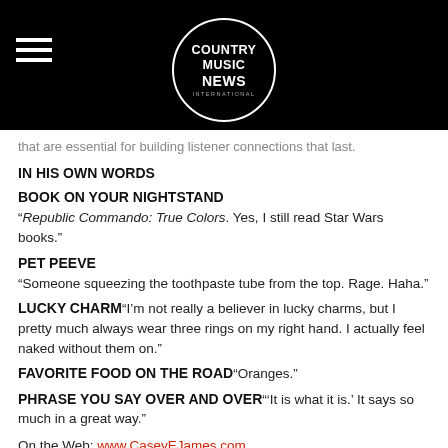COUNTRY MUSIC NEWS INTERNATIONAL
that are essential for building listener connections that last.
IN HIS OWN WORDS
BOOK ON YOUR NIGHTSTAND
“Republic Commando: True Colors. Yes, I still read Star Wars books.”
PET PEEVE
“Someone squeezing the toothpaste tube from the top. Rage. Haha.”
LUCKY CHARM“I’m not really a believer in lucky charms, but I pretty much always wear three rings on my right hand. I actually feel naked without them on.”
FAVORITE FOOD ON THE ROAD“Oranges.”
PHRASE YOU SAY OVER AND OVER“‘It is what it is.’ It says so much in a great way.”
On the Web: www.CaseyEJames.com